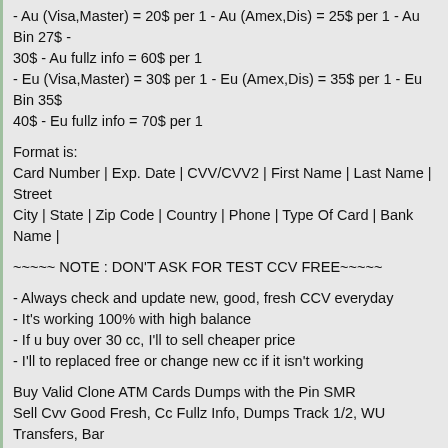- Au (Visa,Master) = 20$ per 1 - Au (Amex,Dis) = 25$ per 1 - Au Bin 27$ - 30$ - Au fullz info = 60$ per 1
- Eu (Visa,Master) = 30$ per 1 - Eu (Amex,Dis) = 35$ per 1 - Eu Bin 35$ - 40$ - Eu fullz info = 70$ per 1
Format is:
Card Number | Exp. Date | CVV/CVV2 | First Name | Last Name | Street | City | State | Zip Code | Country | Phone | Type Of Card | Bank Name |
~~~~~ NOTE : DON'T ASK FOR TEST CCV FREE~~~~~
- Always check and update new, good, fresh CCV everyday
- It's working 100% with high balance
- If u buy over 30 cc, I'll to sell cheaper price
- I'll to replaced free or change new cc if it isn't working
Buy Valid Clone ATM Cards Dumps with the Pin SMR
Sell Cvv Good Fresh, Cc Fullz Info, Dumps Track 1/2, WU Transfers, Bank Transfer
SELLING FRESH CVVS FULLZ DUMPS+PIN PAYPAL BANK LOGIN WU
Sell Paypal,Bank Logins,WU Trf,Dumps+Pin,GiftCards,Fullz CC
Sell CVV Quality 100% - Dumps With Pin - Transfer Western Union - Pay
SELL CVV FULLZ INFO GOOD USA-UK-CA-AU-INTER,PASS VBV/BIN/DOB,D+PIN 101